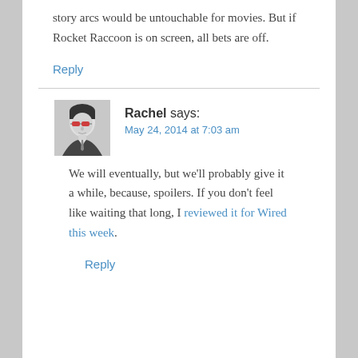story arcs would be untouchable for movies. But if Rocket Raccoon is on screen, all bets are off.
Reply
[Figure (illustration): Grayscale avatar image of a stylized person with red-tinted sunglasses and dark hair]
Rachel says:
May 24, 2014 at 7:03 am
We will eventually, but we'll probably give it a while, because, spoilers. If you don't feel like waiting that long, I reviewed it for Wired this week.
Reply